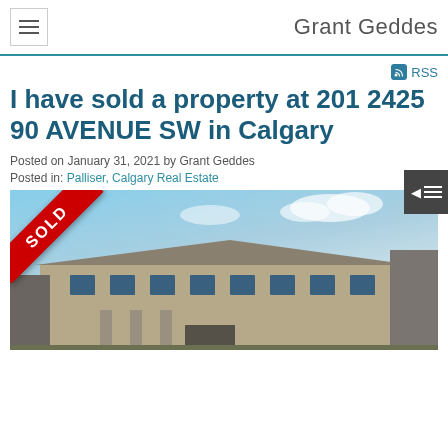Grant Geddes
I have sold a property at 201 2425 90 AVENUE SW in Calgary
Posted on January 31, 2021 by Grant Geddes
Posted in: Palliser, Calgary Real Estate
[Figure (photo): Exterior photo of a sold property at 201 2425 90 Avenue SW in Calgary, with a red SOLD diagonal banner across the top-left corner showing a multi-unit residential building with brick and siding exterior under a blue sky.]